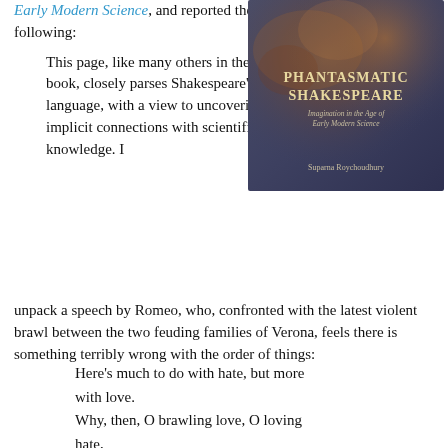Early Modern Science, and reported the following:
[Figure (illustration): Book cover of 'Phantasmatic Shakespeare: Imagination in the Age of Early Modern Science' by Suparna Roychoudhury. Dark blue-grey cover with abstract texture, gold and white title text.]
This page, like many others in the book, closely parses Shakespeare's language, with a view to uncovering implicit connections with scientific knowledge. I unpack a speech by Romeo, who, confronted with the latest violent brawl between the two feuding families of Verona, feels there is something terribly wrong with the order of things:
Here's much to do with hate, but more with love.
Why, then, O brawling love, O loving hate,
O anything of nothing first created,
O heavy lightness, serious vanity,